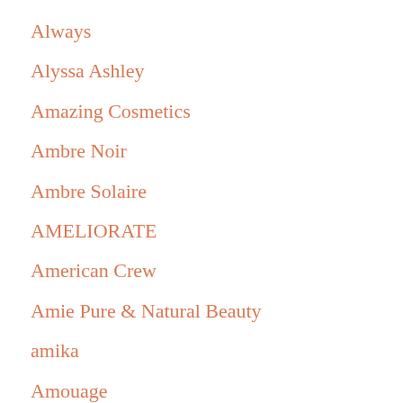Always
Alyssa Ashley
Amazing Cosmetics
Ambre Noir
Ambre Solaire
AMELIORATE
American Crew
Amie Pure & Natural Beauty
amika
Amouage
Anastasia Beverly Hills